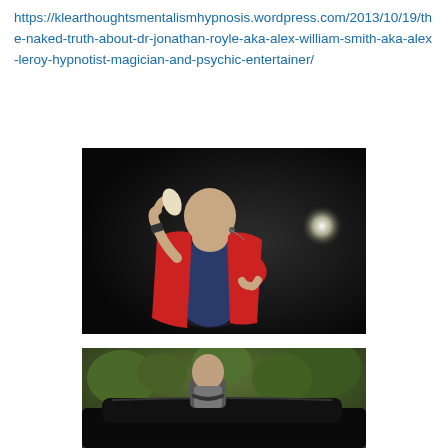https://klearthoughtsmentalismhypnosis.wordpress.com/2013/10/19/the-naked-truth-about-dr-jonathan-royle-aka-alex-william-smith-aka-alex-leroy-hypnotist-magician-and-psychic-entertainer/
[Figure (photo): A bald man in a red jacket performing on stage, holding something in his right hand raised up, with dramatic stage lighting and a bright spotlight visible in the background]
[Figure (photo): A man standing outside near a dark car, with green trees and foliage in the background]